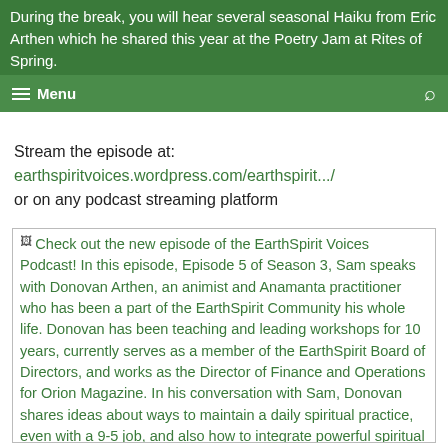During the break, you will hear several seasonal Haiku from Eric Arthen which he shared this year at the Poetry Jam at Rites of Spring.
Stream the episode at:
earthspiritvoices.wordpress.com/earthspirit.../
or on any podcast streaming platform
[Figure (illustration): Image placeholder followed by green text describing the EarthSpirit Voices Podcast episode featuring Donovan Arthen, an animist and Anamanta practitioner, speaking with Sam about daily spiritual practice and integrating spiritual experiences from sacred gatherings and retreats.]
Check out the new episode of the EarthSpirit Voices Podcast! In this episode, Episode 5 of Season 3, Sam speaks with Donovan Arthen, an animist and Anamanta practitioner who has been a part of the EarthSpirit Community his whole life. Donovan has been teaching and leading workshops for 10 years, currently serves as a member of the EarthSpirit Board of Directors, and works as the Director of Finance and Operations for Orion Magazine. In his conversation with Sam, Donovan shares ideas about ways to maintain a daily spiritual practice, even with a 9-5 job, and also how to integrate powerful spiritual experiences from sacred gatherings and retreats.